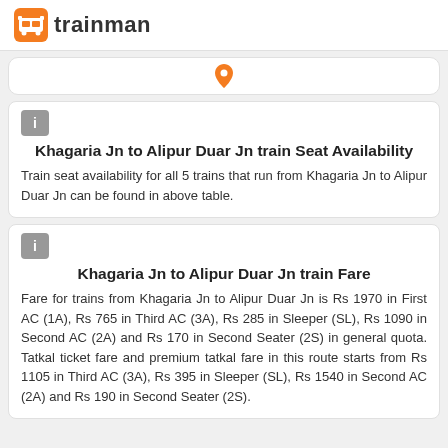trainman
Khagaria Jn to Alipur Duar Jn train Seat Availability
Train seat availability for all 5 trains that run from Khagaria Jn to Alipur Duar Jn can be found in above table.
Khagaria Jn to Alipur Duar Jn train Fare
Fare for trains from Khagaria Jn to Alipur Duar Jn is Rs 1970 in First AC (1A), Rs 765 in Third AC (3A), Rs 285 in Sleeper (SL), Rs 1090 in Second AC (2A) and Rs 170 in Second Seater (2S) in general quota. Tatkal ticket fare and premium tatkal fare in this route starts from Rs 1105 in Third AC (3A), Rs 395 in Sleeper (SL), Rs 1540 in Second AC (2A) and Rs 190 in Second Seater (2S).